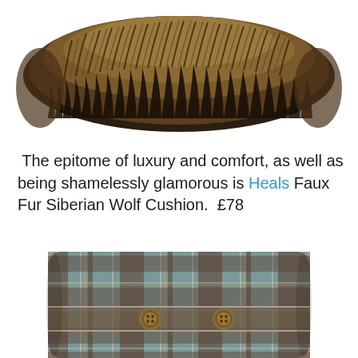[Figure (photo): Partial top view of a faux fur Siberian Wolf cushion with thick brown/dark fur texture, cropped at top of page]
The epitome of luxury and comfort, as well as being shamelessly glamorous is Heals Faux Fur Siberian Wolf Cushion.  £78
[Figure (photo): Tartan/plaid cushion in blue, brown and beige tones with two wooden button fastenings on a horizontal band, partially cropped at bottom of page]